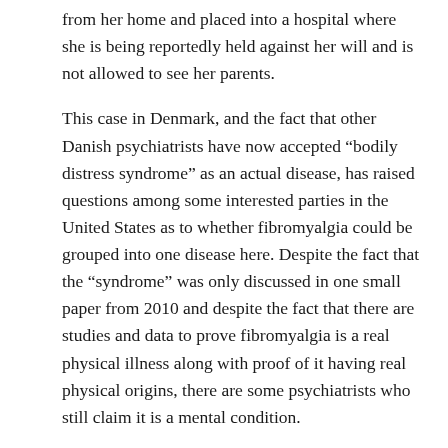from her home and placed into a hospital where she is being reportedly held against her will and is not allowed to see her parents.
This case in Denmark, and the fact that other Danish psychiatrists have now accepted “bodily distress syndrome” as an actual disease, has raised questions among some interested parties in the United States as to whether fibromyalgia could be grouped into one disease here. Despite the fact that the “syndrome” was only discussed in one small paper from 2010 and despite the fact that there are studies and data to prove fibromyalgia is a real physical illness along with proof of it having real physical origins, there are some psychiatrists who still claim it is a mental condition.
To be clear, no major organizations such as the CDC or the World Health Organization have labeled fibromyalgia a mental disorder or mental illness. It is not included in the WHO’s classification of mental disorders. In fact, the WHO